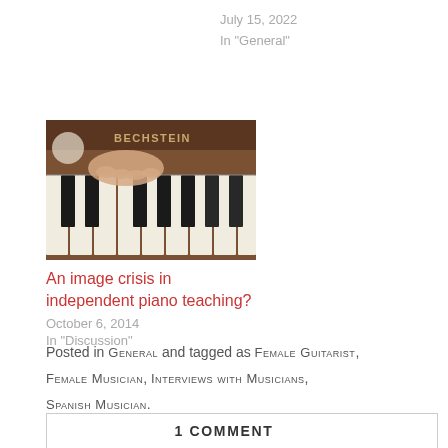July 15, 2022
In "General"
[Figure (photo): Close-up photo of hands playing a Bechstein piano keyboard]
An image crisis in independent piano teaching?
October 6, 2014
In "Discussion"
Posted in GENERAL and tagged as FEMALE GUITARIST, FEMALE MUSICIAN, INTERVIEWS WITH MUSICIANS, SPANISH MUSICIAN.
1 COMMENT